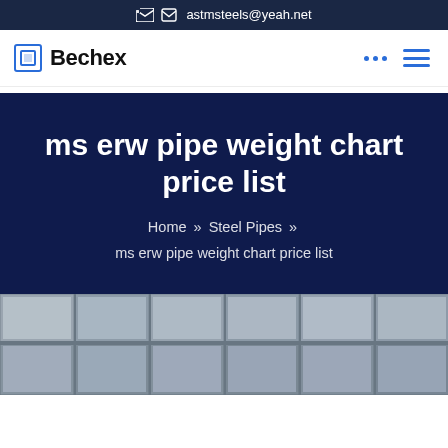astmsteels@yeah.net
ms erw pipe weight chart price list
Home » Steel Pipes » ms erw pipe weight chart price list
[Figure (photo): Industrial building interior showing steel pipe structure / grid ceiling viewed from below]